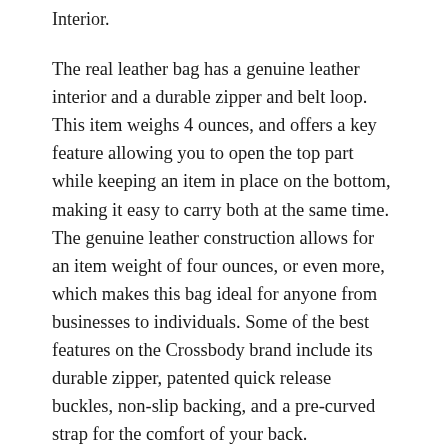Interior.
The real leather bag has a genuine leather interior and a durable zipper and belt loop. This item weighs 4 ounces, and offers a key feature allowing you to open the top part while keeping an item in place on the bottom, making it easy to carry both at the same time. The genuine leather construction allows for an item weight of four ounces, or even more, which makes this bag ideal for anyone from businesses to individuals. Some of the best features on the Crossbody brand include its durable zipper, patented quick release buckles, non-slip backing, and a pre-curved strap for the comfort of your back.
The Noir is another great leather crossbody bag with a classic style. It is a bit smaller than the Noir and is only about five ounces, but it has a unique key feature that allows you to open the top half while still holding it on to the other hand bottom. I...